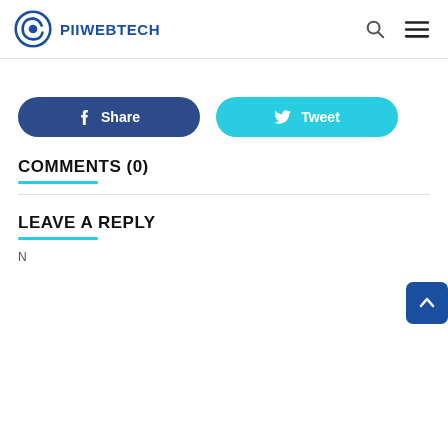PIIWEBTECH
[Figure (other): Share button (Facebook) and Tweet button (Twitter)]
COMMENTS (0)
LEAVE A REPLY